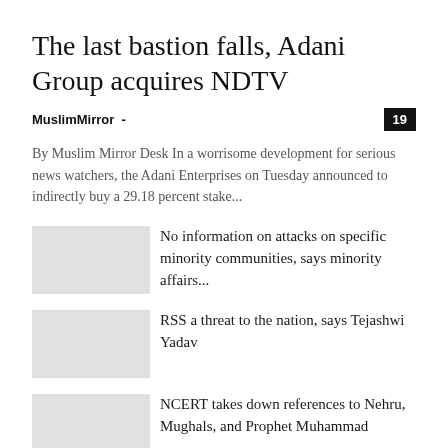The last bastion falls, Adani Group acquires NDTV
MuslimMirror
By Muslim Mirror Desk In a worrisome development for serious news watchers, the Adani Enterprises on Tuesday announced to indirectly buy a 29.18 percent stake...
No information on attacks on specific minority communities, says minority affairs...
RSS a threat to the nation, says Tejashwi Yadav
NCERT takes down references to Nehru, Mughals, and Prophet Muhammad